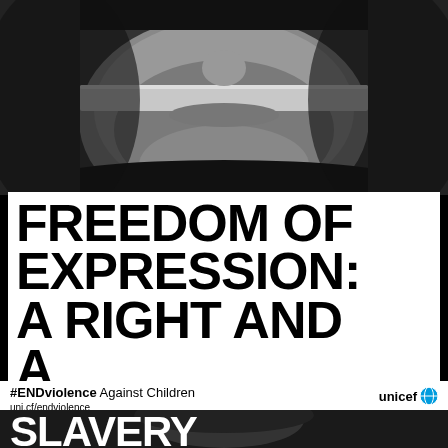[Figure (photo): Black and white close-up photograph of a man's face from nose to chin area, with what appears to be tape across the mouth, symbolizing censorship. The person wears a dark shirt.]
FREEDOM OF EXPRESSION: A RIGHT AND A RESPONSIBILITY
#ENDviolence Against Children uni.cf/endviolence  unicef
[Figure (photo): Partial view of a person's head with dark hair, bottom portion of a UNICEF ENDviolence campaign image showing the word SLAVERY.]